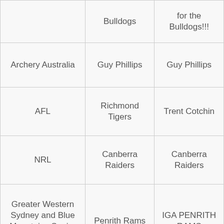|  | Bulldogs | for the Bulldogs!!! |
| Archery Australia | Guy Phillips | Guy Phillips |
| AFL | Richmond Tigers | Trent Cotchin |
| NRL | Canberra Raiders | Canberra Raiders |
| Greater Western Sydney and Blue Mountains Senior AFL | Penrith Rams | IGA PENRITH RAMS |
| AFL | Greater Western Sydney | Greater Western Sydney |
| AFL | Western Bulldogs | Western Bulldogs |